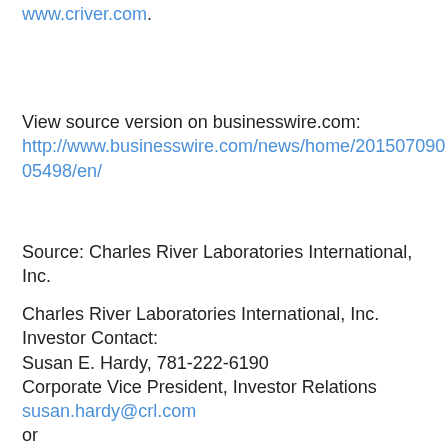www.criver.com.
View source version on businesswire.com:
http://www.businesswire.com/news/home/20150709005498/en/
Source: Charles River Laboratories International, Inc.
Charles River Laboratories International, Inc.
Investor Contact:
Susan E. Hardy, 781-222-6190
Corporate Vice President, Investor Relations
susan.hardy@crl.com
or